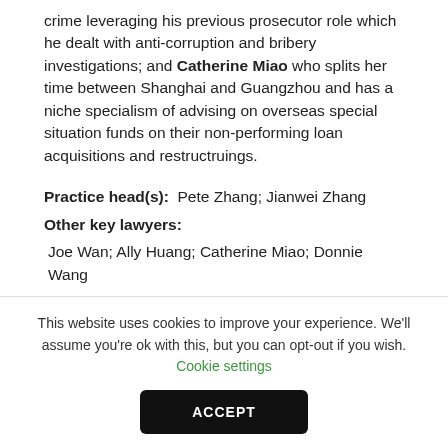crime leveraging his previous prosecutor role which he dealt with anti-corruption and bribery investigations; and Catherine Miao who splits her time between Shanghai and Guangzhou and has a niche specialism of advising on overseas special situation funds on their non-performing loan acquisitions and restructruings.
Practice head(s): Pete Zhang; Jianwei Zhang
Other key lawyers:
Joe Wan; Ally Huang; Catherine Miao; Donnie Wang
Testimonials
This website uses cookies to improve your experience. We'll assume you're ok with this, but you can opt-out if you wish. Cookie settings